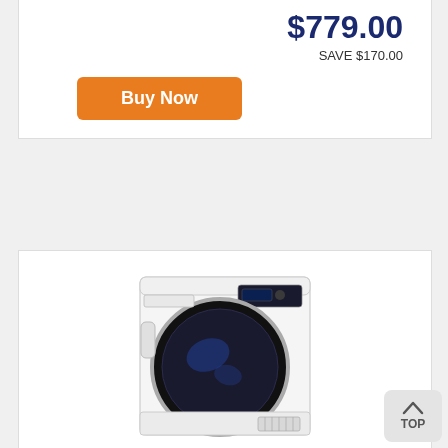$779.00
SAVE $170.00
Buy Now
[Figure (photo): Beko front-load dryer, white, with black circular drum door and control panel at top right, ventilation grille at lower right]
Beko 8kg Sensor Controlled Hybrid Heat Pump Dryer BDP83HW
great deals including free delivery & removal when you buy the beko 8kg sensor controlled...
[Figure (logo): Appliances Online logo - teal circular icon with 'appliancesonline' text below]